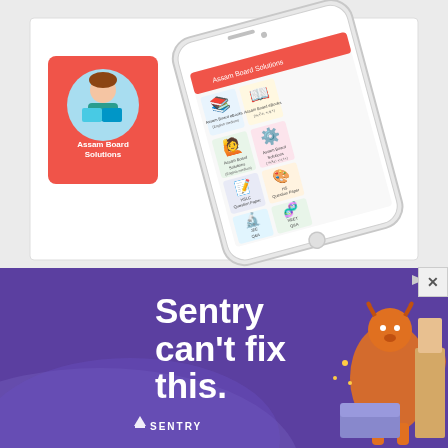[Figure (screenshot): Assam Board Solutions app promotional image showing a smartphone mockup with the app interface displaying categories: Assam Board eBooks (English medium), Assam Board eBooks (Assamese), Assam Board Solutions (English medium), Assam Board Solutions (Assamese), HSLC Question Paper, HS Question Paper, JEE Q&A, NEET Q&A. On the left is the app logo with a girl reading a book on a red background with text 'Assam Board Solutions'.]
[Figure (screenshot): Sentry advertisement banner with purple background. Large white bold text reads 'Sentry can't fix this.' with Sentry logo at bottom left and illustrated characters on the right.]